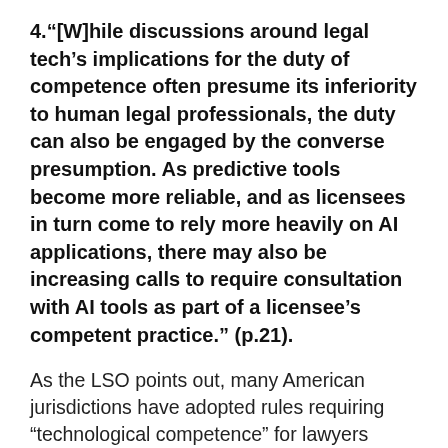4."[W]hile discussions around legal tech's implications for the duty of competence often presume its inferiority to human legal professionals, the duty can also be engaged by the converse presumption. As predictive tools become more reliable, and as licensees in turn come to rely more heavily on AI applications, there may also be increasing calls to require consultation with AI tools as part of a licensee's competent practice." (p.21).
As the LSO points out, many American jurisdictions have adopted rules requiring “technological competence” for lawyers (p.20). Ontario’s Rule 3.1-1(k) does not specify technological competence, but is broadly drafted. Nevertheless, as the Technology Task